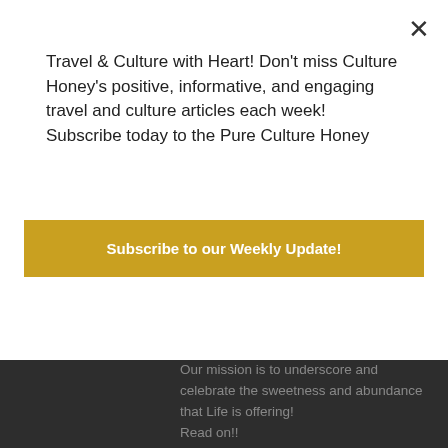Travel & Culture with Heart! Don't miss Culture Honey's positive, informative, and engaging travel and culture articles each week! Subscribe today to the Pure Culture Honey
Subscribe to our Weekly Update!
Our mission is to underscore and celebrate the sweetness and abundance that Life is offering!
Read on!!
[Figure (other): Social media icons: Instagram, Twitter, Facebook, Pinterest]
SITE CONTRIBUTORS